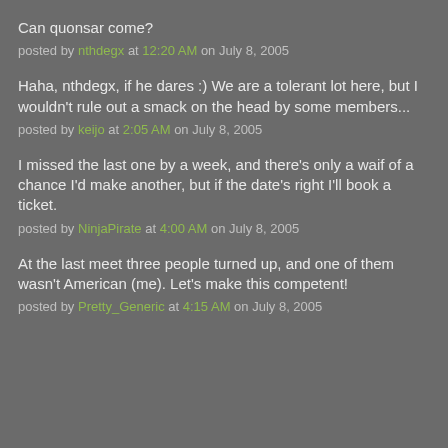Can quonsar come?
posted by nthdegx at 12:20 AM on July 8, 2005
Haha, nthdegx, if he dares :) We are a tolerant lot here, but I wouldn't rule out a smack on the head by some members...
posted by keijo at 2:05 AM on July 8, 2005
I missed the last one by a week, and there's only a waif of a chance I'd make another, but if the date's right I'll book a ticket.
posted by NinjaPirate at 4:00 AM on July 8, 2005
At the last meet three people turned up, and one of them wasn't American (me). Let's make this competent!
posted by Pretty_Generic at 4:15 AM on July 8, 2005